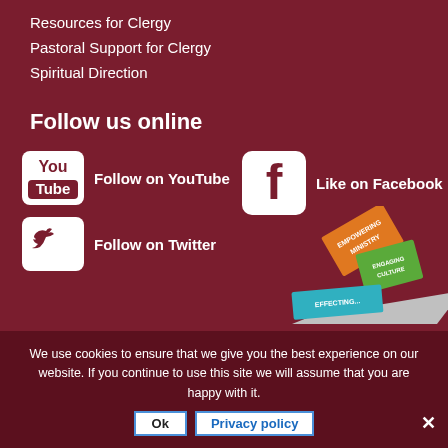Resources for Clergy
Pastoral Support for Clergy
Spiritual Direction
Follow us online
[Figure (logo): YouTube icon, Facebook icon, Twitter icon with social media follow/like text labels and a decorative booklet illustration]
We use cookies to ensure that we give you the best experience on our website. If you continue to use this site we will assume that you are happy with it.
Ok   Privacy policy